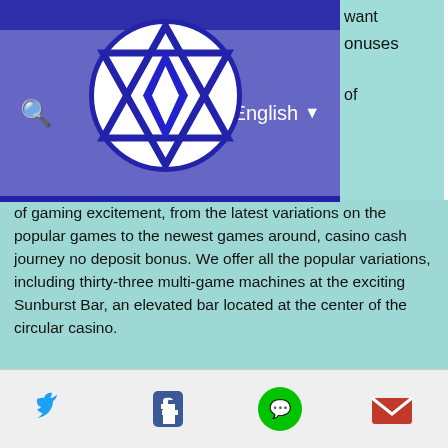[Figure (screenshot): Website navigation bar with blue/purple background, star-polygon logo in circle, search icon, menu icon, English language selector with dropdown arrow]
of gaming excitement, from the latest variations on the popular games to the newest games around, casino cash journey no deposit bonus. We offer all the popular variations, including thirty-three multi-game machines at the exciting Sunburst Bar, an elevated bar located at the center of the circular casino.
Today's Results:
Jimi Hendrix - 173 bch
Bermuda Triangle - 742.6 eth
Vikings Fun - 458.1 dog
Super Safari - 351.5 btc
Hot 777 - 519 dog
Ghost Pirates - 379.6 bch
[Figure (screenshot): Social media sharing bar with Twitter, Facebook, LINE, and email icons]